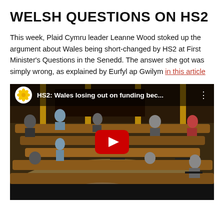WELSH QUESTIONS ON HS2
This week, Plaid Cymru leader Leanne Wood stoked up the argument about Wales being short-changed by HS2 at First Minister's Questions in the Senedd. The answer she got was simply wrong, as explained by Eurfyl ap Gwilym in this article
[Figure (screenshot): YouTube video thumbnail showing the Welsh Senedd chamber with politicians at curved wooden desks. A large red YouTube play button is overlaid. The video title reads 'HS2: Wales losing out on funding bec...' with a yellow flower logo (Plaid Cymru) in a white circle on the top left.]